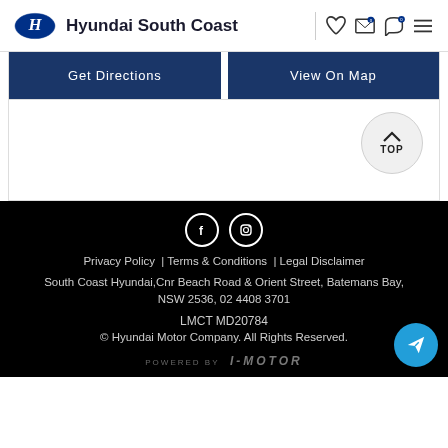Hyundai South Coast
Get Directions
View On Map
[Figure (illustration): Back to Top button — circular button with upward caret and 'TOP' label]
[Figure (illustration): Social media icons: Facebook and Instagram circles]
Privacy Policy | Terms & Conditions | Legal Disclaimer South Coast Hyundai,Cnr Beach Road & Orient Street, Batemans Bay, NSW 2536, 02 4408 3701 LMCT MD20784 © Hyundai Motor Company. All Rights Reserved. POWERED BY I-MOTOR